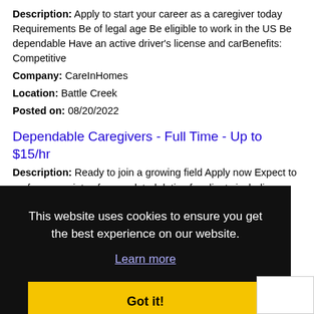Description: Apply to start your career as a caregiver today Requirements Be of legal age Be eligible to work in the US Be dependable Have an active driver's license and carBenefits: Competitive
Company: CareInHomes
Location: Battle Creek
Posted on: 08/20/2022
Dependable Caregivers - Full Time - Up to $15/hr
Description: Ready to join a growing field Apply now Expect to perform a variety of care related duties for clients including: Providing companionship Transportation Meal preparation HousekeepingRequirements (more...)
This website uses cookies to ensure you get the best experience on our website.
Learn more
Got it!